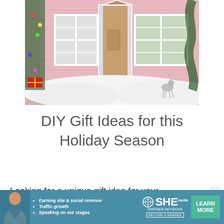[Figure (photo): A pink dollhouse or playhouse exterior with white-trimmed windows and door, decorated with white fluffy material resembling snow at the base, a silver reindeer figurine, pine tree branches, and a Christmas tree with lights visible at the left edge.]
DIY Gift Ideas for this Holiday Season
Looking for a unique gift idea for your
[Figure (infographic): Advertisement banner for SHE Partner Network in teal/blue. Shows a woman's photo on the left, bullet points: Earning site & social revenue, Traffic growth, Speaking on our stages. Center shows SHE Partner Network logo with circular emblem and 'BECOME A MEMBER' text. Right side has a green 'LEARN MORE' button.]